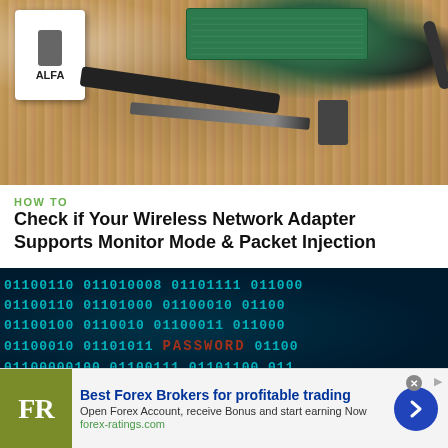[Figure (photo): Photo of electronics on a wooden table: ALFA USB WiFi adapter (white, with logo), Raspberry Pi Zero (green PCB), black USB cables, a black antenna, and a stylus/pen]
HOW TO
Check if Your Wireless Network Adapter Supports Monitor Mode & Packet Injection
[Figure (photo): Dark cybersecurity-themed image showing binary code (01 sequences) in cyan/teal on a dark blue/black background, with the word PASSWORD highlighted in red text in the middle]
Best Forex Brokers for profitable trading
Open Forex Account, receive Bonus and start earning Now
forex-ratings.com